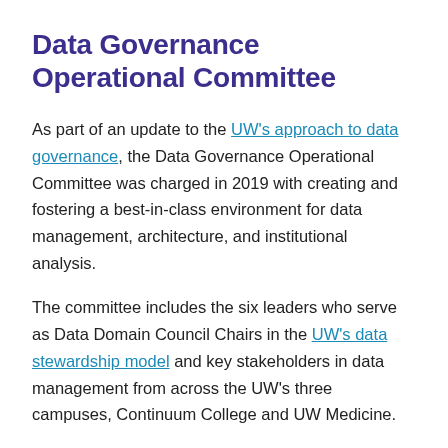Data Governance Operational Committee
As part of an update to the UW's approach to data governance, the Data Governance Operational Committee was charged in 2019 with creating and fostering a best-in-class environment for data management, architecture, and institutional analysis.
The committee includes the six leaders who serve as Data Domain Council Chairs in the UW's data stewardship model and key stakeholders in data management from across the UW's three campuses, Continuum College and UW Medicine.